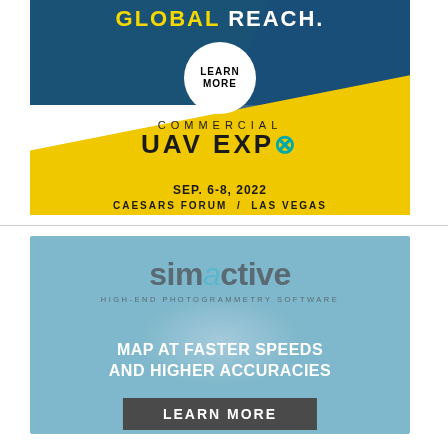[Figure (illustration): Commercial UAV Expo advertisement banner with blue and yellow diagonal design. Top portion shows 'GLOBAL REACH.' text with a white circle button saying 'LEARN MORE'. Center shows 'COMMERCIAL UAV EXPO' logo with teal X. Bottom shows 'SEP. 6-8, 2022' and 'CAESARS FORUM / LAS VEGAS'.]
[Figure (illustration): Simactive photogrammetry software advertisement. Light blue/grey gradient background with 'simactive' logo and 'HIGH-END PHOTOGRAMMETRY SOFTWARE' subtitle. Text reads 'MAP AT FASTER SPEEDS AND HIGHER ACCURACIES'. Dark grey 'LEARN MORE' button at bottom.]